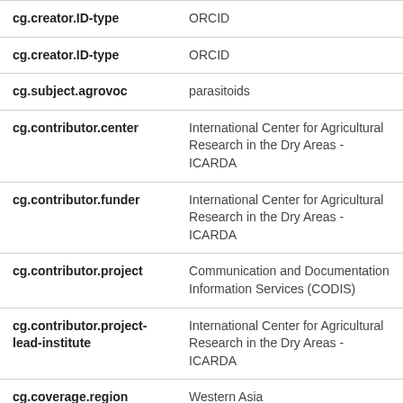| Field | Value |
| --- | --- |
| cg.creator.ID-type | ORCID |
| cg.creator.ID-type | ORCID |
| cg.subject.agrovoc | parasitoids |
| cg.contributor.center | International Center for Agricultural Research in the Dry Areas - ICARDA |
| cg.contributor.funder | International Center for Agricultural Research in the Dry Areas - ICARDA |
| cg.contributor.project | Communication and Documentation Information Services (CODIS) |
| cg.contributor.project-lead-institute | International Center for Agricultural Research in the Dry Areas - ICARDA |
| cg.coverage.region | Western Asia |
| cg.coverage.country | SY |
| cg.contact | M.BOHSSINI@CGIAR.ORG |